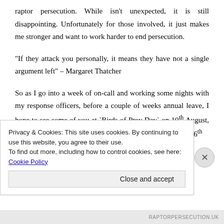raptor persecution. While isn't unexpected, it is still disappointing. Unfortunately for those involved, it just makes me stronger and want to work harder to end persecution.
“If they attack you personally, it means they have not a single argument left” – Margaret Thatcher
So as I go into a week of on-call and working some nights with my response officers, before a couple of weeks annual leave, I hope to see some of you at ‘Birds of Prey Day’ on 10th August, ‘Hen Harrier Day’ on 11th August or The Bird Fair on the 16th
Privacy & Cookies: This site uses cookies. By continuing to use this website, you agree to their use.
To find out more, including how to control cookies, see here: Cookie Policy
Close and accept